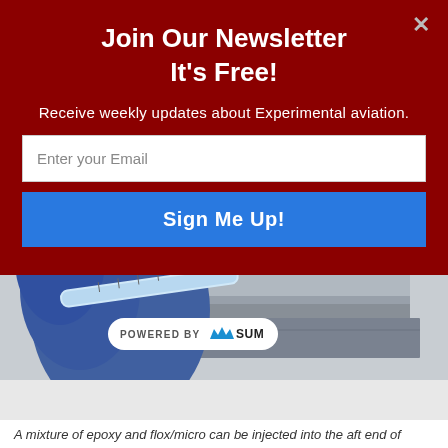Join Our Newsletter
It's Free!
Receive weekly updates about Experimental aviation.
Enter your Email
Sign Me Up!
[Figure (photo): A person wearing blue latex gloves holding a syringe or tube against a metallic surface, likely an aircraft part. A 'POWERED BY SUMO' badge is overlaid on the image.]
A mixture of epoxy and flox/micro can be injected into the aft end of